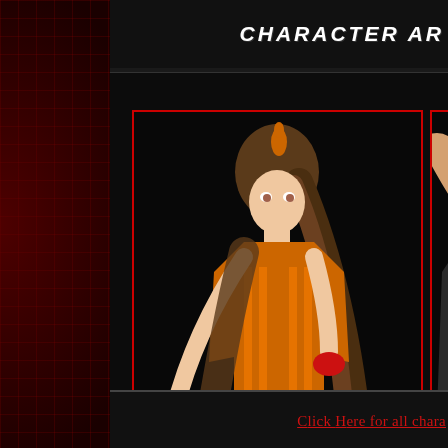CHARACTER AR
[Figure (illustration): Anime-style female fighting game character with long brown hair, orange outfit with black pants, red fingerless gloves, red shoes, in a fighting stance]
[Figure (illustration): Anime-style male fighting game character with dark hair, dark gi with red sash/belt, in a martial arts stance with hand extended]
Click Here for all chara